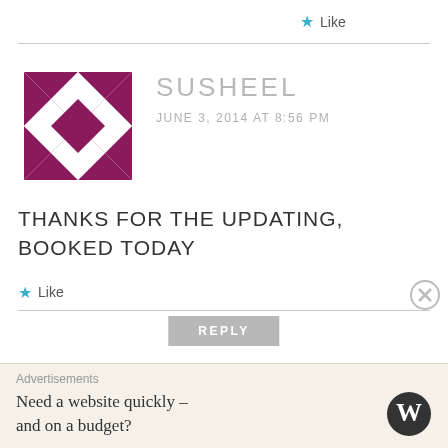★ Like
[Figure (illustration): Decorative geometric avatar icon made of purple/magenta diamond and triangle shapes in a quilt-like pattern]
SUSHEEL
JUNE 3, 2014 AT 8:56 PM
THANKS FOR THE UPDATING, BOOKED TODAY
★ Like
REPLY
Advertisements
Need a website quickly – and on a budget?